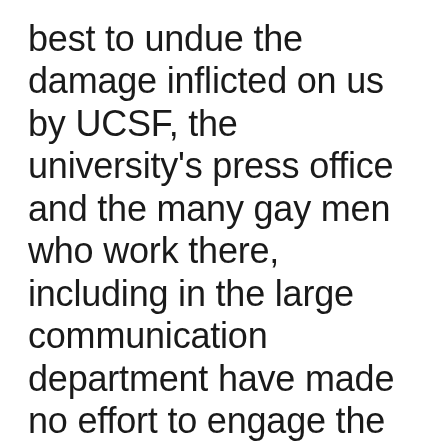best to undue the damage inflicted on us by UCSF, the university's press office and the many gay men who work there, including in the large communication department have made no effort to engage the community in a frank talk. UCSF would be smart to organize its own town hall meetings, and there should be more than one, so that there can be a public accounting by the university to the stigmatized gay community. It is not